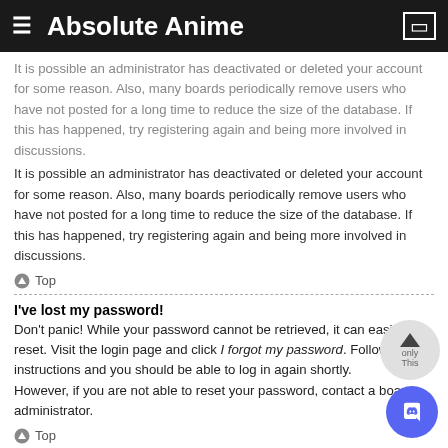≡ Absolute Anime
It is possible an administrator has deactivated or deleted your account for some reason. Also, many boards periodically remove users who have not posted for a long time to reduce the size of the database. If this has happened, try registering again and being more involved in discussions.
Top
I've lost my password!
Don't panic! While your password cannot be retrieved, it can easily be reset. Visit the login page and click I forgot my password. Follow the instructions and you should be able to log in again shortly.
However, if you are not able to reset your password, contact a board administrator.
Top
Why do I get logged off automatically?
If you do not check the Remember me box when you login, the board will only keep you logged in for a preset time. This prevents misuse of your account by anyone else. To stay logged in, check the Remember me box during login. This is not recommended if you access the board from a shared computer, e.g. library, internet cafe, university computer lab, etc. If you do not see this checkbox, it means a board administrator has disabled this feature.